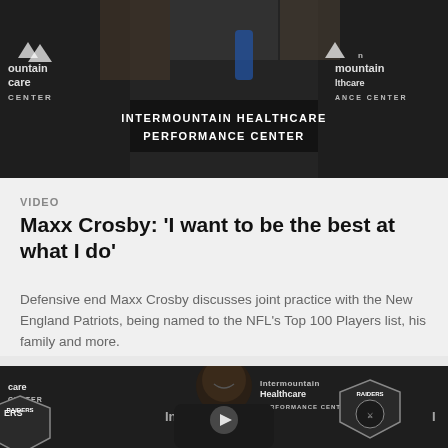[Figure (photo): Top image of a press conference backdrop with 'Intermountain Healthcare Performance Center' banner, person standing in front of the backdrop with tattooed arms visible]
VIDEO
Maxx Crosby: 'I want to be the best at what I do'
Defensive end Maxx Crosby discusses joint practice with the New England Patriots, being named to the NFL's Top 100 Players list, his family and more.
[Figure (photo): Bottom video thumbnail showing Maxx Crosby in front of Intermountain Healthcare Performance Center backdrop with Raiders logo, play button overlay in center]